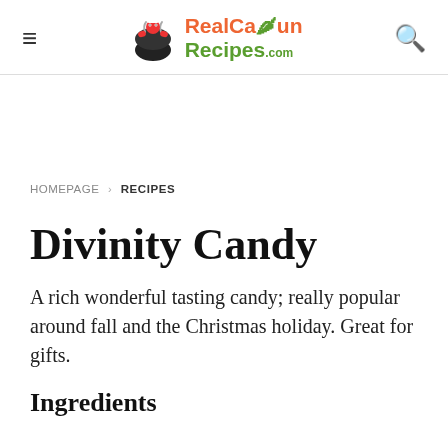RealCajunRecipes.com
HOMEPAGE › RECIPES
Divinity Candy
A rich wonderful tasting candy; really popular around fall and the Christmas holiday. Great for gifts.
Ingredients